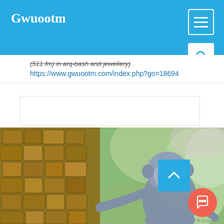Gwuootm
(511 fm) in arq-bash and jewellery)
https://www.gwuootm.com/index.php?go=18694
[Figure (photo): A small monkey clinging to a rough stone or bark surface, with green foliage in the background. A blue scroll-to-top button and a red chat button overlay the bottom-right of the image.]